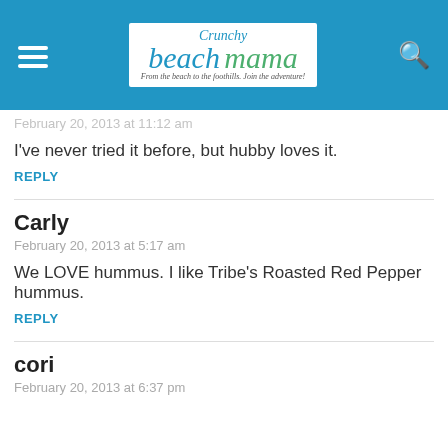Crunchy Beach Mama — From the beach to the foothills. Join the adventure!
February 20, 2013 at 11:12 am
I've never tried it before, but hubby loves it.
REPLY
Carly
February 20, 2013 at 5:17 am
We LOVE hummus. I like Tribe's Roasted Red Pepper hummus.
REPLY
cori
February 20, 2013 at 6:37 pm